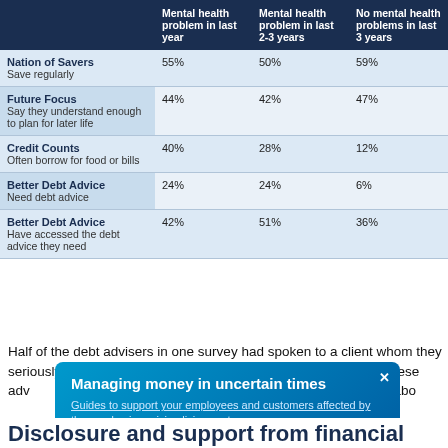|  | Mental health problem in last year | Mental health problem in last 2-3 years | No mental health problems in last 3 years |
| --- | --- | --- | --- |
| Nation of Savers
Save regularly | 55% | 50% | 59% |
| Future Focus
Say they understand enough to plan for later life | 44% | 42% | 47% |
| Credit Counts
Often borrow for food or bills | 40% | 28% | 12% |
| Better Debt Advice
Need debt advice | 24% | 24% | 6% |
| Better Debt Advice
Have accessed the debt advice they need | 42% | 51% | 36% |
Half of the debt advisers in one survey had spoken to a client whom they seriously believed might go on to end their own life, but 31% of these adv... w that... t abo...
[Figure (infographic): Popup overlay: 'Managing money in uncertain times' with subtitle 'Guides to support your employees and customers affected by the pandemic or rising living costs']
Disclosure and support from financial